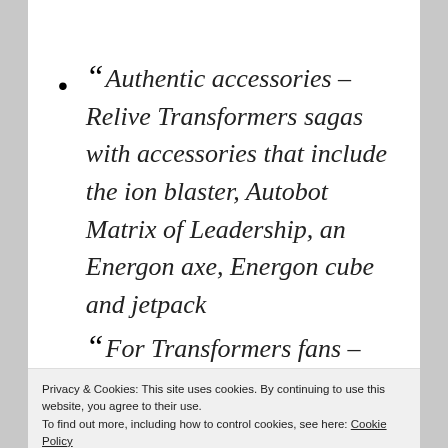“ Authentic accessories – Relive Transformers sagas with accessories that include the ion blaster, Autobot Matrix of Leadership, an Energon axe, Energon cube and jetpack
“ For Transformers fans – This project
Privacy & Cookies: This site uses cookies. By continuing to use this website, you agree to their use. To find out more, including how to control cookies, see here: Cookie Policy
Close and accept